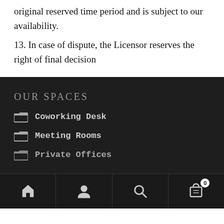original reserved time period and is subject to our availability.
13. In case of dispute, the Licensor reserves the right of final decision
OUR SPACES
Coworking Desk
Meeting Rooms
Private Offices
Home | Account | Search | Cart (0)